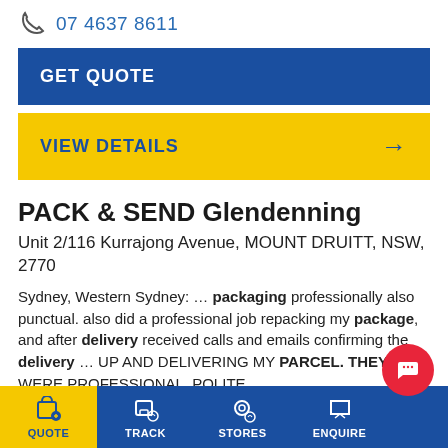07 4637 8611
GET QUOTE
VIEW DETAILS →
PACK & SEND Glendenning
Unit 2/116 Kurrajong Avenue, MOUNT DRUITT, NSW, 2770
Sydney, Western Sydney: … packaging professionally also punctual. also did a professional job repacking my package, and after delivery received calls and emails confirming the delivery … UP AND DELIVERING MY PARCEL. THEY WERE PROFESSIONAL. POLITE, …
glendenning@packsend.com.au
QUOTE  TRACK  STORES  ENQUIRE